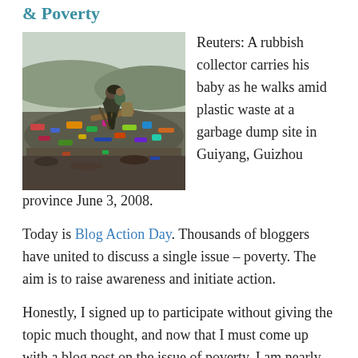& Poverty
[Figure (photo): A rubbish collector carries his baby as he walks amid plastic waste at a garbage dump site in Guiyang, Guizhou province.]
Reuters: A rubbish collector carries his baby as he walks amid plastic waste at a garbage dump site in Guiyang, Guizhou province June 3, 2008.
Today is Blog Action Day. Thousands of bloggers have united to discuss a single issue – poverty. The aim is to raise awareness and initiate action.
Honestly, I signed up to participate without giving the topic much thought, and now that I must come up with a blog post on the issue of poverty, I am nearly